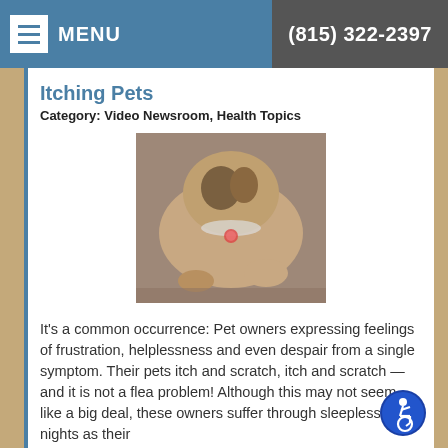MENU | (815) 322-2397
Itching Pets
Category: Video Newsroom, Health Topics
[Figure (photo): A dog scratching/grooming itself, viewed from above, wearing a collar with a tag.]
It's a common occurrence: Pet owners expressing feelings of frustration, helplessness and even despair from a single symptom. Their pets itch and scratch, itch and scratch — and it is not a flea problem! Although this may not seem like a big deal, these owners suffer through sleepless nights as their
Read more